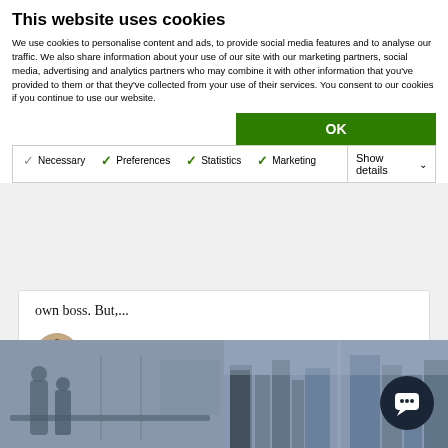This website uses cookies
We use cookies to personalise content and ads, to provide social media features and to analyse our traffic. We also share information about your use of our site with our marketing partners, social media, advertising and analytics partners who may combine it with other information that you've provided to them or that they've collected from your use of their services. You consent to our cookies if you continue to use our website.
OK
Necessary  Preferences  Statistics  Marketing  Show details
own boss.  But,...
Joe Bailey
October 23, 2020
[Figure (photo): Blue-tinted collage of two office/city photographs side by side showing people in a meeting room and a city skyline view]
[Figure (other): Dark circular chat button with speech bubble icon]